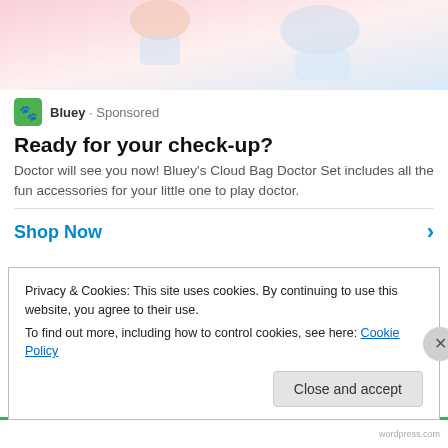[Figure (photo): Partial view of children playing with toys on a white background, cropped at top of page]
Bluey · Sponsored
Ready for your check-up?
Doctor will see you now! Bluey's Cloud Bag Doctor Set includes all the fun accessories for your little one to play doctor.
Shop Now
With October behind us and rumor has it, our inevitable journey into the Polar Vortex, I thought I'd revitalize my grandmother's pot roast recipe. When there's a chill in the air or a Jewish holiday upon us, Ruth's famous pot roast is
Privacy & Cookies: This site uses cookies. By continuing to use this website, you agree to their use.
To find out more, including how to control cookies, see here: Cookie Policy
Close and accept